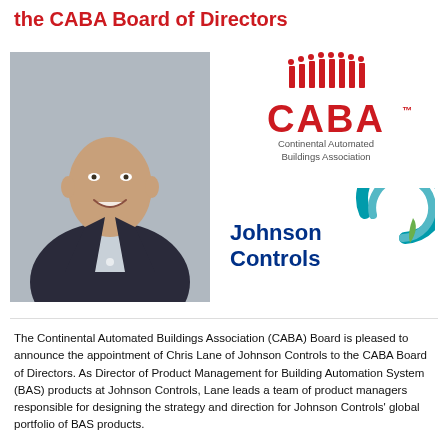the CABA Board of Directors
[Figure (photo): Headshot of Chris Lane, a bald middle-aged man smiling, wearing a dark suit jacket]
[Figure (logo): CABA logo — red bar graph icon above bold red CABA text with TM, subtitle: Continental Automated Buildings Association]
[Figure (logo): Johnson Controls logo — blue text 'Johnson Controls' with teal/green swirl graphic]
The Continental Automated Buildings Association (CABA) Board is pleased to announce the appointment of Chris Lane of Johnson Controls to the CABA Board of Directors. As Director of Product Management for Building Automation System (BAS) products at Johnson Controls, Lane leads a team of product managers responsible for designing the strategy and direction for Johnson Controls' global portfolio of BAS products.